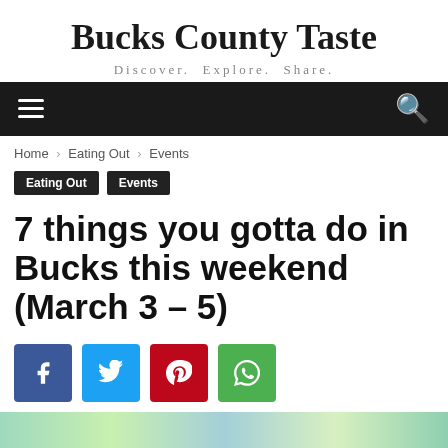Bucks County Taste
Discover. Explore. Share.
Navigation bar with hamburger menu and search icon
Home › Eating Out › Events
Eating Out  Events
7 things you gotta do in Bucks this weekend (March 3 – 5)
[Figure (infographic): Social share buttons: Facebook (blue), Twitter (cyan), Pinterest (red), WhatsApp (green)]
[Figure (photo): Partial image visible at bottom of page, appears to show a colorful outdoor scene]